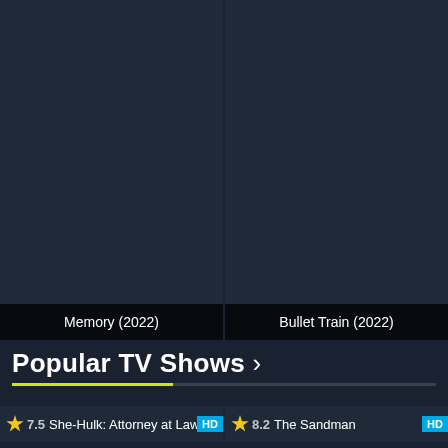[Figure (screenshot): Dark movie card for Memory (2022) with dark background]
Memory (2022)
[Figure (screenshot): Dark movie card for Bullet Train (2022) with dark background]
Bullet Train (2022)
Popular TV Shows >
7.5 She-Hulk: Attorney at Law HD
8.2 The Sandman HD